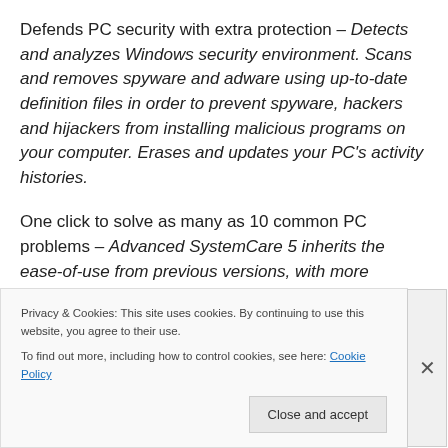Defends PC security with extra protection – Detects and analyzes Windows security environment. Scans and removes spyware and adware using up-to-date definition files in order to prevent spyware, hackers and hijackers from installing malicious programs on your computer. Erases and updates your PC's activity histories.
One click to solve as many as 10 common PC problems – Advanced SystemCare 5 inherits the ease-of-use from previous versions, with more powerful capabilities. With one click, it scans and repairs ten PC problems and...
Privacy & Cookies: This site uses cookies. By continuing to use this website, you agree to their use. To find out more, including how to control cookies, see here: Cookie Policy
Close and accept